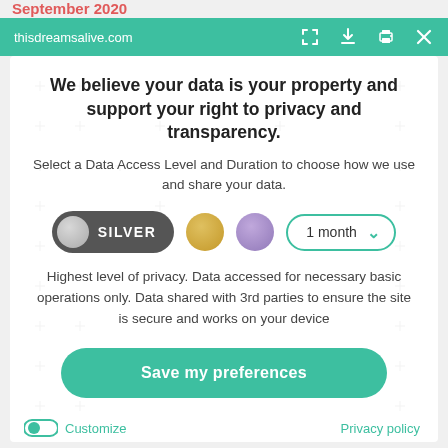September 2020
thisdreamsalive.com
We believe your data is your property and support your right to privacy and transparency.
Select a Data Access Level and Duration to choose how we use and share your data.
[Figure (infographic): Data access level selector showing SILVER pill button (dark grey with silver circle), a gold circle, a purple circle, and a '1 month' dropdown with teal border and chevron arrow]
Highest level of privacy. Data accessed for necessary basic operations only. Data shared with 3rd parties to ensure the site is secure and works on your device
Save my preferences
Customize
Privacy policy